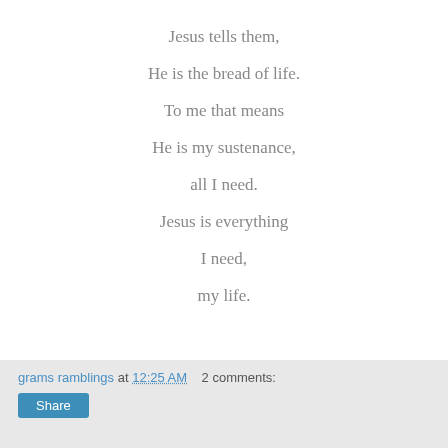Jesus tells them,
He is the bread of life.
To me that means
He is my sustenance,
all I need.
Jesus is everything
I need,
my life.
grams ramblings at 12:25 AM  2 comments:  Share